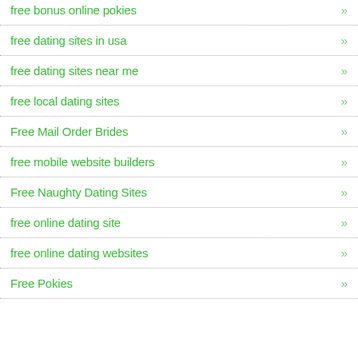free bonus online pokies »
free dating sites in usa »
free dating sites near me »
free local dating sites »
Free Mail Order Brides »
free mobile website builders »
Free Naughty Dating Sites »
free online dating site »
free online dating websites »
Free Pokies »